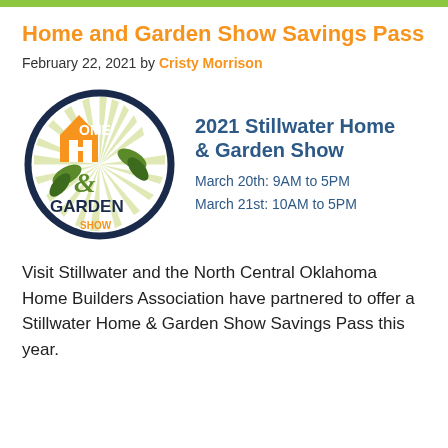Home and Garden Show Savings Pass
February 22, 2021 by Cristy Morrison
[Figure (logo): 2021 Stillwater Home & Garden Show logo — circular dark navy border with orange 'H' house icon, green leaves, and 'Home & Garden Show' text — alongside event title and dates: March 20th: 9AM to 5PM, March 21st: 10AM to 5PM]
Visit Stillwater and the North Central Oklahoma Home Builders Association have partnered to offer a Stillwater Home & Garden Show Savings Pass this year.